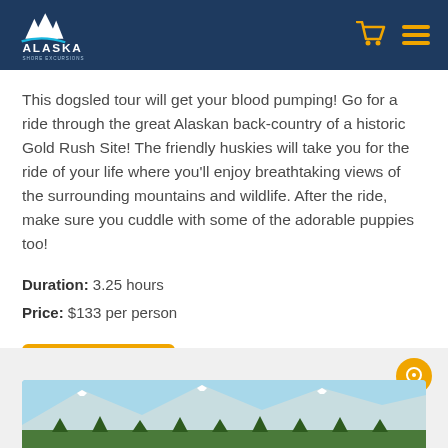Alaska Shore Excursions
This dogsled tour will get your blood pumping! Go for a ride through the great Alaskan back-country of a historic Gold Rush Site! The friendly huskies will take you for the ride of your life where you'll enjoy breathtaking views of the surrounding mountains and wildlife. After the ride, make sure you cuddle with some of the adorable puppies too!
Duration: 3.25 hours
Price: $133 per person
View Details
[Figure (photo): Mountain landscape with snow-capped peaks and green forest at the bottom of the page]